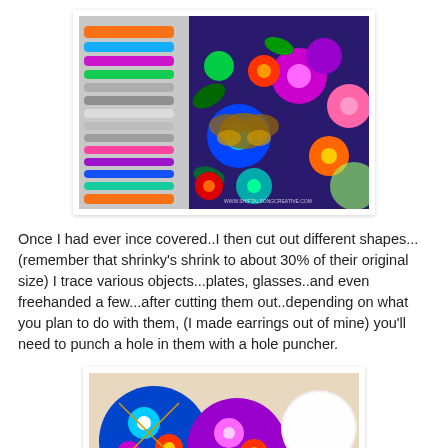[Figure (photo): Photo of colorful markers/pens next to a vibrant floral and butterfly coloring page with bright purple, pink, blue, orange and green colors. Watermark visible: www.shiftalsongcreative.com]
Once I had ever ince covered..I then cut out different shapes...(remember that shrinky's shrink to about 30% of their original size) I trace various objects...plates, glasses..and even freehanded a few...after cutting them out..depending on what you plan to do with them, (I made earrings out of mine) you'll need to punch a hole in them with a hole puncher.
[Figure (photo): Photo of colorful shrinky dink pieces on a surface, featuring bold floral patterns in blue, red, purple, pink and orange, with a white circular object visible.]